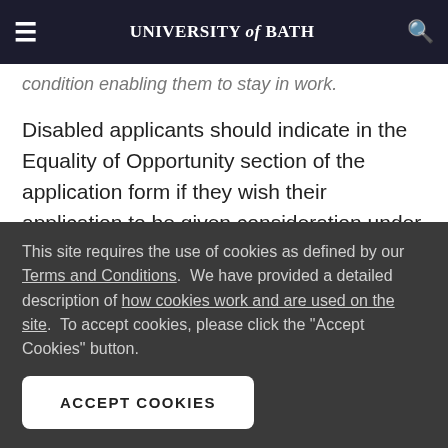UNIVERSITY of BATH
condition enabling them to stay in work.
Disabled applicants should indicate in the Equality of Opportunity section of the application form if they wish their application to be given consideration under
This site requires the use of cookies as defined by our Terms and Conditions.  We have provided a detailed description of how cookies work and are used on the site.  To accept cookies, please click the "Accept Cookies" button.